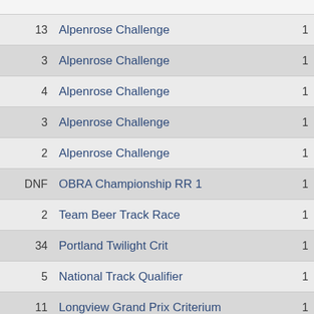| Place | Event | Count |
| --- | --- | --- |
| 13 | Alpenrose Challenge | 1 |
| 3 | Alpenrose Challenge | 1 |
| 4 | Alpenrose Challenge | 1 |
| 3 | Alpenrose Challenge | 1 |
| 2 | Alpenrose Challenge | 1 |
| DNF | OBRA Championship RR 1 | 1 |
| 2 | Team Beer Track Race | 1 |
| 34 | Portland Twilight Crit | 1 |
| 5 | National Track Qualifier | 1 |
| 11 | Longview Grand Prix Criterium | 1 |
| 3 | Alpenrose Heartbreaker | 1 |